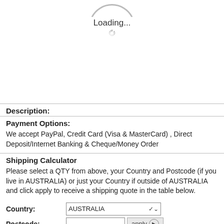[Figure (other): Partial loading spinner arc at top of page with loading indicator text and small spinner below]
Loading...
Description:
Payment Options:
We accept PayPal, Credit Card (Visa & MasterCard) , Direct Deposit/Internet Banking & Cheque/Money Order
Shipping Calculator
Please select a QTY from above, your Country and Postcode (if you live in AUSTRALIA) or just your Country if outside of AUSTRALIA and click apply to receive a shipping quote in the table below.
Country: AUSTRALIA
Postcode: apply